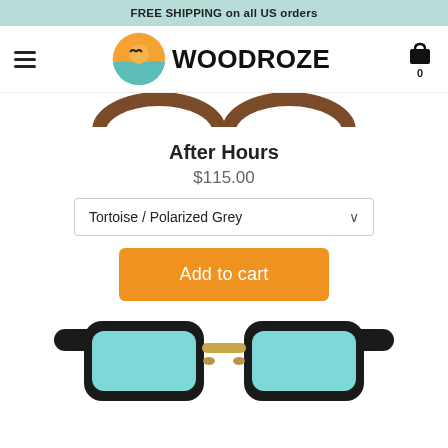FREE SHIPPING on all US orders
[Figure (logo): Woodroze brand logo with circular wave/sun icon and WOODROZE text, hamburger menu icon on left, shopping cart icon on right with count 0]
[Figure (photo): Partial top view of tortoise shell sunglasses frames]
After Hours
$115.00
Tortoise / Polarized Grey
Add to cart
[Figure (photo): Black clubmaster-style sunglasses with light blue lenses and gold bridge, viewed from front]